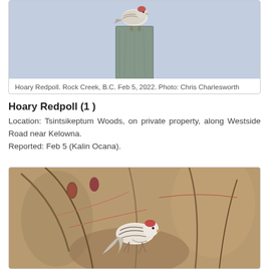[Figure (photo): Hoary Redpoll bird perched on top of a wooden fence post, light blue-grey sky background]
Hoary Redpoll. Rock Creek, B.C. Feb 5, 2022. Photo: Chris Charlesworth
Hoary Redpoll (1 )
Location: Tsintsikeptum Woods, on private property, along Westside Road near Kelowna. Reported: Feb 5 (Kalin Ocana).
[Figure (photo): Hoary Redpoll bird clinging to branches with reddish catkins in a winter shrub scene with blurred brown background]